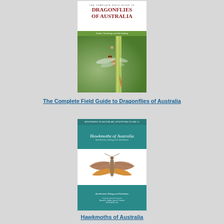[Figure (illustration): Book cover of 'The Complete Field Guide to Dragonflies of Australia' showing a dragonfly perched on a green stem against a bokeh background, with dark red title text and a green banner.]
The Complete Field Guide to Dragonflies of Australia
[Figure (illustration): Book cover of 'Hawkmoths of Australia' with teal/green design showing a hawkmoth specimen on white background, subtitled 'Identification, Biology and Distribution'.]
Hawkmoths of Australia